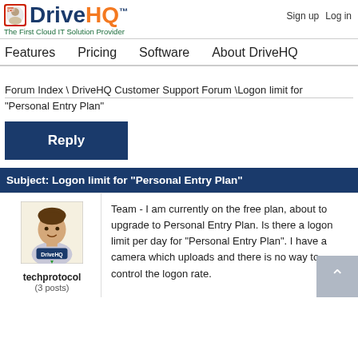DriveHQ™ - The First Cloud IT Solution Provider | Sign up  Log in
Features   Pricing   Software   About DriveHQ
Forum Index \ DriveHQ Customer Support Forum \Logon limit for "Personal Entry Plan"
Reply
Subject: Logon limit for "Personal Entry Plan"
[Figure (illustration): User avatar for techprotocol showing a cartoon person with DriveHQ logo badge]
techprotocol
(3 posts)
Team - I am currently on the free plan, about to upgrade to Personal Entry Plan. Is there a logon limit per day for "Personal Entry Plan". I have a camera which uploads and there is no way to control the logon rate.